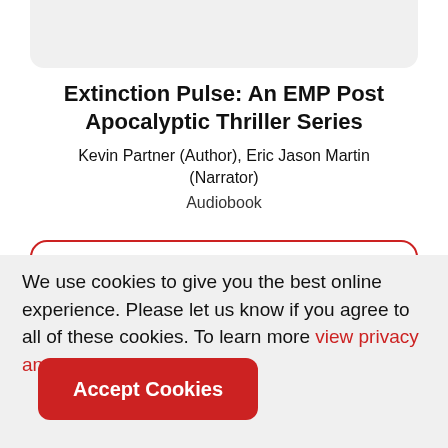Extinction Pulse: An EMP Post Apocalyptic Thriller Series
Kevin Partner (Author), Eric Jason Martin (Narrator)
Audiobook
We use cookies to give you the best online experience. Please let us know if you agree to all of these cookies. To learn more view privacy and cookies policy.
Accept Cookies